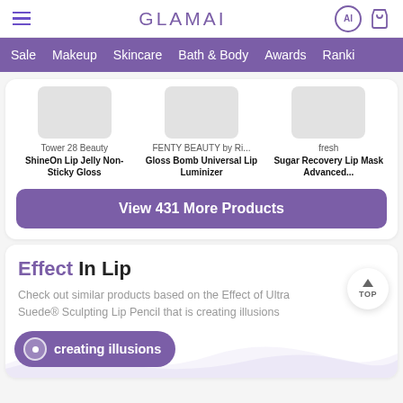GLAMAI — navigation header with hamburger menu, AI search icon, and bag icon
Sale  Makeup  Skincare  Bath & Body  Awards  Ranki...
Tower 28 Beauty — ShineOn Lip Jelly Non-Sticky Gloss
FENTY BEAUTY by Ri... — Gloss Bomb Universal Lip Luminizer
fresh — Sugar Recovery Lip Mask Advanced...
View 431 More Products
Effect In Lip
Check out similar products based on the Effect of Ultra Suede® Sculpting Lip Pencil that is creating illusions
creating illusions